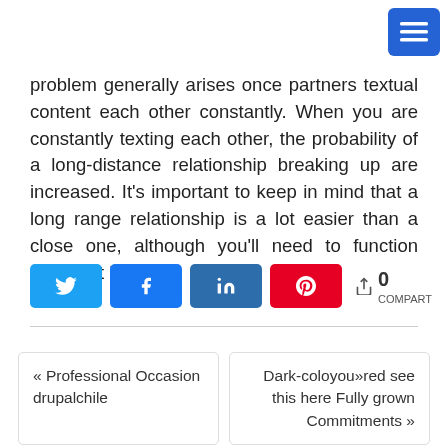[Figure (other): Hamburger menu button, blue rounded square, top right corner]
problem generally arises once partners textual content each other constantly. When you are constantly texting each other, the probability of a long-distance relationship breaking up are increased. It's important to keep in mind that a long range relationship is a lot easier than a close one, although you'll need to function harder at it.
[Figure (other): Social share buttons: Twitter (light blue), Facebook (blue), LinkedIn (dark blue), Pinterest (red), and share count showing 0 COMPART]
« Professional Occasion drupalchile
Dark-coloyou»red see this here Fully grown Commitments »